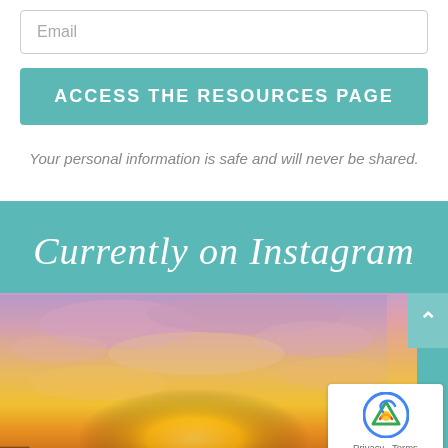Email
ACCESS THE RESOURCES PAGE
Your personal information is safe and will never be shared.
Currently on Instagram
[Figure (photo): Sunset sky photo with pink, purple, orange and yellow clouds, Instagram feed image]